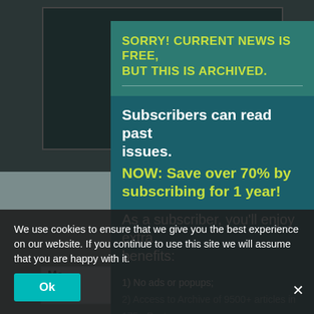SORRY! CURRENT NEWS IS FREE, BUT THIS IS ARCHIVED.
Subscribers can read past issues.
NOW: Save over 70% by subscribing for 1 year!
As a subscriber, you'll enjoy extra benefits:
1) No ads or popups;
2) Access to Archive of 9500+ articles in 175+ Past Issues;
3) All you need to use the PDF...
4) Satisfaction of a... iterative work; and
5) Email notification of a...es (2X/month). And More!
We use cookies to ensure that we give you the best experience on our website. If you continue to use this site we will assume that you are happy with it.
Ok